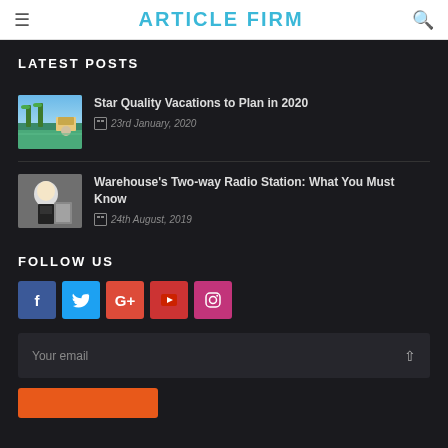≡  ARTICLE FIRM  🔍
LATEST POSTS
Star Quality Vacations to Plan in 2020 | 23rd January, 2020
Warehouse's Two-way Radio Station: What You Must Know | 24th August, 2019
FOLLOW US
[Figure (infographic): Social media icon buttons: Facebook (blue), Twitter (light blue), Google+ (red-orange), YouTube (red), Instagram (pink)]
Your email